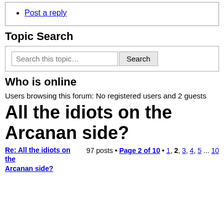Post a reply
Topic Search
Search this topic… [Search button]
Who is online
Users browsing this forum: No registered users and 2 guests
All the idiots on the Arcanan side?
Re: All the idiots on the Arcanan side?  97 posts • Page 2 of 10 • 1, 2, 3, 4, 5 ... 10